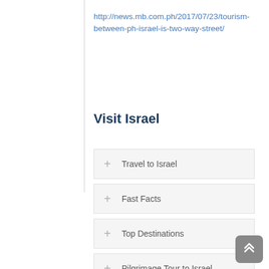http://news.mb.com.ph/2017/07/23/tourism-between-ph-israel-is-two-way-street/
Visit Israel
Travel to Israel
Fast Facts
Top Destinations
Pilgrimage Tour to Israel
Visa Requirement for Filipinos